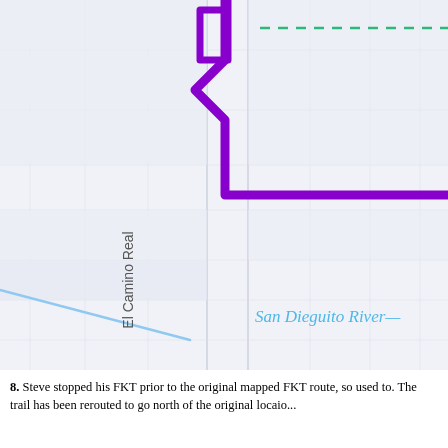[Figure (map): Street map showing El Camino Real (vertical road label, rotated text), San Dieguito River label in blue italic text, a bold purple route line making angular turns, a dashed green line in the upper right, a light blue diagonal line in the lower left, and a light gray/blue grid background representing city blocks.]
8. Steve stopped his FKT prior to the original mapped FKT route, so used to. The trail has been rerouted to go north of the original locaio...